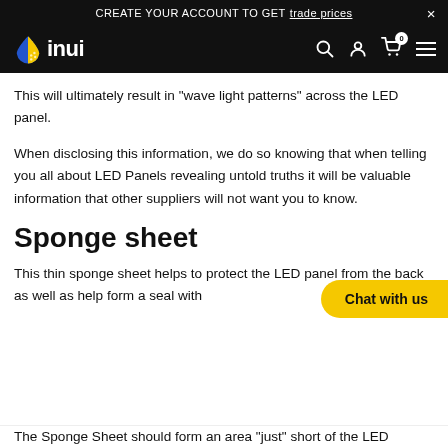CREATE YOUR ACCOUNT TO GET trade prices ×
inui [logo] [search] [account] [cart 0] [menu]
This will ultimately result in "wave light patterns" across the LED panel.
When disclosing this information, we do so knowing that when telling you all about LED Panels revealing untold truths it will be valuable information that other suppliers will not want you to know.
Sponge sheet
This thin sponge sheet helps to protect the LED panel from the back as well as help form a seal with[...] just partials.
The Sponge Sheet should form an area "just" short of the LED...